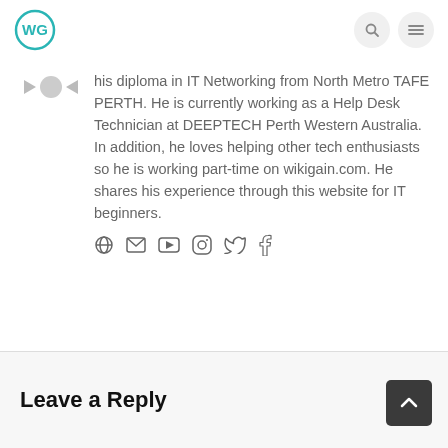wikigain.com logo and navigation icons
his diploma in IT Networking from North Metro TAFE PERTH. He is currently working as a Help Desk Technician at DEEPTECH Perth Western Australia. In addition, he loves helping other tech enthusiasts so he is working part-time on wikigain.com. He shares his experience through this website for IT beginners.
Leave a Reply